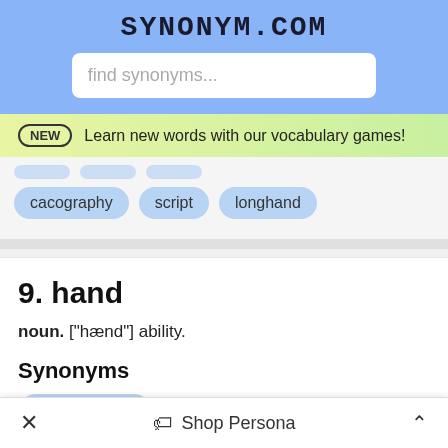SYNONYM.COM
find synonyms...
NEW  Learn new words with our vocabulary games!
cacography
script
longhand
9. hand
noun. ["hænd"] ability.
Synonyms
× Shop Persona ^